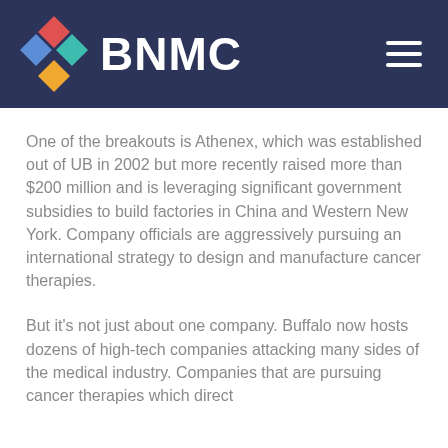BNMC
One of the breakouts is Athenex, which was established out of UB in 2002 but more recently raised more than $200 million and is leveraging significant government subsidies to build factories in China and Western New York. Company officials are aggressively pursuing an international strategy to design and manufacture cancer therapies.
But it's not just about one company. Buffalo now hosts dozens of high-tech companies attacking many sides of the medical industry. Companies that are pursuing cancer therapies which direct chemotherapies directly to cancer cells that the UB...